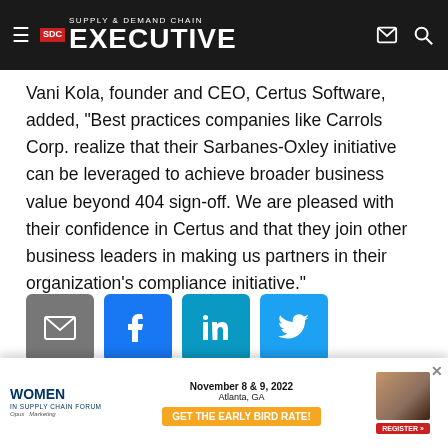Supply & Demand Chain Executive
Vani Kola, founder and CEO, Certus Software, added, "Best practices companies like Carrols Corp. realize that their Sarbanes-Oxley initiative can be leveraged to achieve broader business value beyond 404 sign-off. We are pleased with their confidence in Certus and that they join other business leaders in making us partners in their organization's compliance initiative."
[Figure (other): Social share buttons: email (grey), Facebook (blue), LinkedIn (teal), Twitter (light blue)]
Supply Chain Industry Premier Networking Event!
[Figure (other): Advertisement banner: Women in Supply Chain Forum, November 8 & 9, 2022, Atlanta, GA. GET THE EARLY BIRD RATE! Register button.]